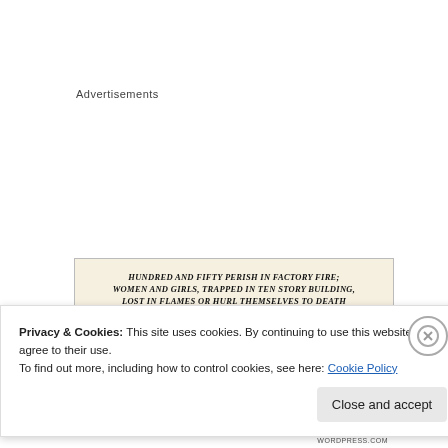Advertisements
[Figure (photo): Newspaper clipping with bold italic headline: HUNDRED AND FIFTY PERISH IN FACTORY FIRE; WOMEN AND GIRLS, TRAPPED IN TEN STORY BUILDING, LOST IN FLAMES OR HURL THEMSELVES TO DEATH, followed by a photographic strip below the headline]
Privacy & Cookies: This site uses cookies. By continuing to use this website, you agree to their use.
To find out more, including how to control cookies, see here: Cookie Policy
Close and accept